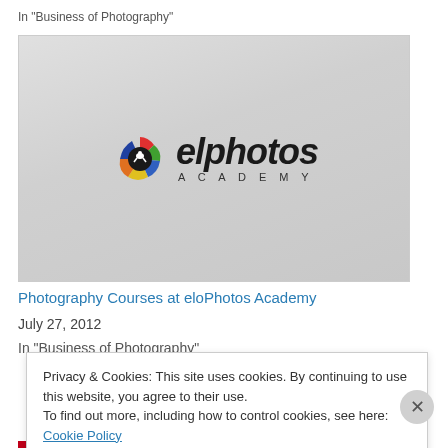In "Business of Photography"
[Figure (logo): eloPhotos Academy logo on light gray background — colorful pinwheel/aperture icon next to stylized text 'elophotos' with 'ACADEMY' subtitle]
Photography Courses at eloPhotos Academy
July 27, 2012
In "Business of Photography"
Privacy & Cookies: This site uses cookies. By continuing to use this website, you agree to their use.
To find out more, including how to control cookies, see here: Cookie Policy